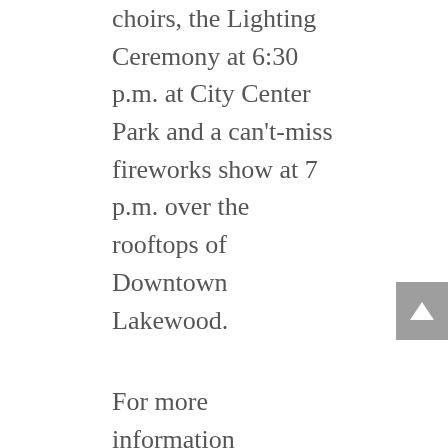choirs, the Lighting Ceremony at 6:30 p.m. at City Center Park and a can't-miss fireworks show at 7 p.m. over the rooftops of Downtown Lakewood.
For more information regarding Light Up Lakewood 2018, please visit LakewoodAlive.org/LightUpLakewood.
Light Up Lakewood is generously supported by the following sponsors:
Title Sponsor and Fireworks Sponsor:
First Federal Lakewood